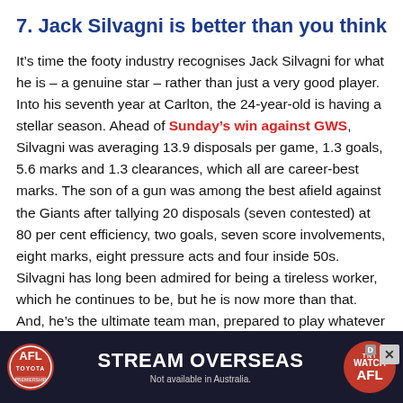7. Jack Silvagni is better than you think
It’s time the footy industry recognises Jack Silvagni for what he is – a genuine star – rather than just a very good player. Into his seventh year at Carlton, the 24-year-old is having a stellar season. Ahead of Sunday’s win against GWS, Silvagni was averaging 13.9 disposals per game, 1.3 goals, 5.6 marks and 1.3 clearances, which all are career-best marks. The son of a gun was among the best afield against the Giants after tallying 20 disposals (seven contested) at 80 per cent efficiency, two goals, seven score involvements, eight marks, eight pressure acts and four inside 50s. Silvagni has long been admired for being a tireless worker, which he continues to be, but he is now more than that. And, he’s the ultimate team man, prepared to play whatever role is asked of him, which is another reason the Blues’ faithful love him. – Trent
[Figure (other): AFL Stream Overseas advertisement banner with AFL logo, Watch AFL pill logo, and text STREAM OVERSEAS / Not available in Australia.]